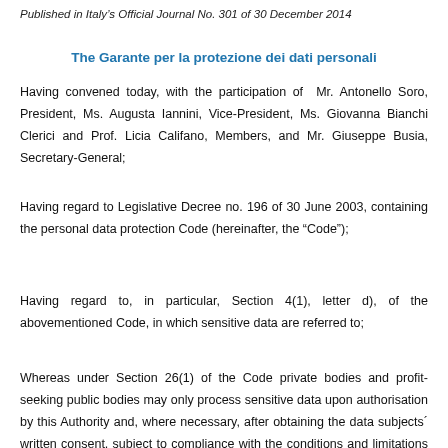Published in Italy’s Official Journal No. 301 of 30 December 2014
The Garante per la protezione dei dati personali
Having convened today, with the participation of  Mr. Antonello Soro, President, Ms. Augusta Iannini, Vice-President, Ms. Giovanna Bianchi Clerici and Prof. Licia Califano, Members, and Mr. Giuseppe Busia, Secretary-General;
Having regard to Legislative Decree no. 196 of 30 June 2003, containing the personal data protection Code (hereinafter, the “Code”);
Having regard to, in particular, Section 4(1), letter d), of the abovementioned Code, in which sensitive data are referred to;
Whereas under Section 26(1) of the Code private bodies and profit-seeking public bodies may only process sensitive data upon authorisation by this Authority and, where necessary, after obtaining the data subjects´ written consent, subject to compliance with the conditions and limitations set out in the Code as well as in